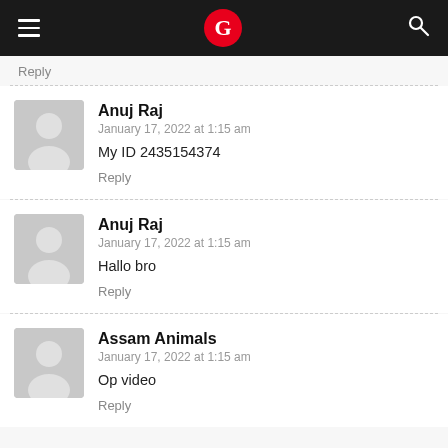G
Reply
Anuj Raj
January 17, 2022 at 1:15 am
My ID 2435154374
Reply
Anuj Raj
January 17, 2022 at 1:15 am
Hallo bro
Reply
Assam Animals
January 17, 2022 at 1:15 am
Op video
Reply